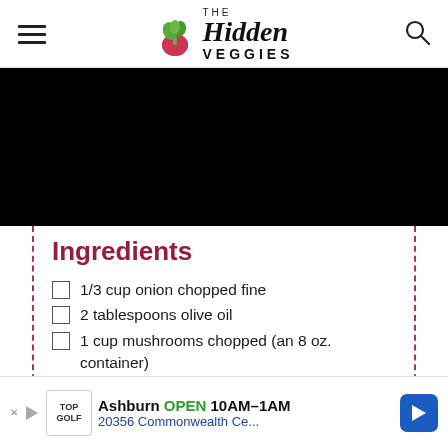THE Hidden VEGGIES
[Figure (photo): Black rectangle representing a food photo area]
Ingredients
1/3 cup onion chopped fine
2 tablespoons olive oil
1 cup mushrooms chopped (an 8 oz. container)
1/4 teaspoon salt
[Figure (other): Advertisement bar: Ashburn OPEN 10AM-1AM, TopGolf, 20356 Commonwealth Ce...]